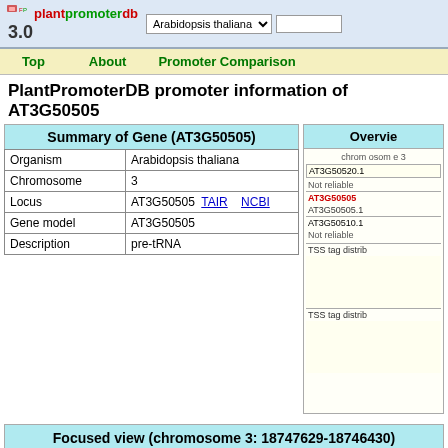plantpromoterdb 3.0 — Arabidopsis thaliana dropdown — search box
Top | About | Promoter Comparison
PlantPromoterDB promoter information of AT3G50505
Summary of Gene (AT3G50505)
|  |  |
| --- | --- |
| Organism | Arabidopsis thaliana |
| Chromosome | 3 |
| Locus | AT3G50505  TAIR     NCBI |
| Gene model | AT3G50505 |
| Description | pre-tRNA |
Overview
chromosome 3
AT3G50520.1
Not reliable
AT3G50505
AT3G50505.1
AT3G50510.1
Not reliable
TSS tag distrib
TSS tag distrib
Focused view (chromosome 3: 18747629-18746430)
| Genome position |  |
| --- | --- |
| TSS from cDNA |  |